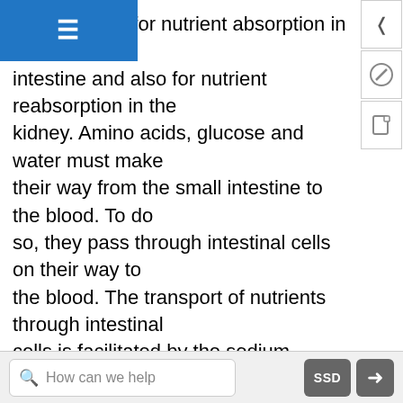n is essential for nutrient absorption in the small intestine and also for nutrient reabsorption in the kidney. Amino acids, glucose and water must make their way from the small intestine to the blood. To do so, they pass through intestinal cells on their way to the blood. The transport of nutrients through intestinal cells is facilitated by the sodium-potassium pump, which by moving sodium out of the cell, creates a higher sodium concentration outside of the cell (requiring ATP).
Sodium Imbalances
Sweating is a homeostatic mechanism for maintaining body temperature, which influences fluid and electrolyte balance. Sweating causes the loss of...